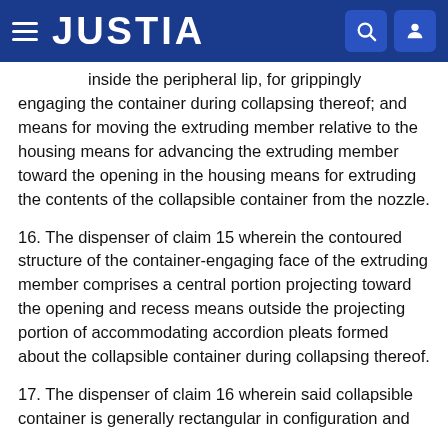JUSTIA
inside the peripheral lip, for grippingly engaging the container during collapsing thereof; and means for moving the extruding member relative to the housing means for advancing the extruding member toward the opening in the housing means for extruding the contents of the collapsible container from the nozzle.
16. The dispenser of claim 15 wherein the contoured structure of the container-engaging face of the extruding member comprises a central portion projecting toward the opening and recess means outside the projecting portion of accommodating accordion pleats formed about the collapsible container during collapsing thereof.
17. The dispenser of claim 16 wherein said collapsible container is generally rectangular in configuration and